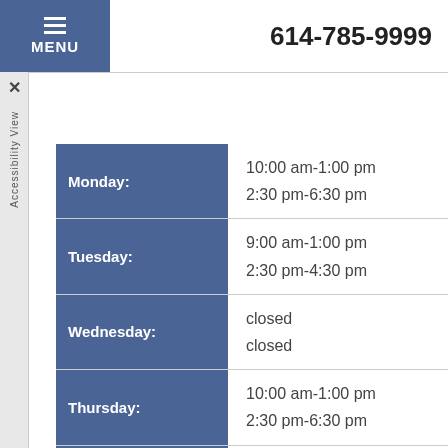MENU | 614-785-9999
| Day | Hours |
| --- | --- |
| Monday: | 10:00 am-1:00 pm
2:30 pm-6:30 pm |
| Tuesday: | 9:00 am-1:00 pm
2:30 pm-4:30 pm |
| Wednesday: | closed
closed |
| Thursday: | 10:00 am-1:00 pm
2:30 pm-6:30 pm |
| Friday: | 9:00 am-1:00 pm
closed |
| Saturday: | closed
closed |
| Sunday: | closed |